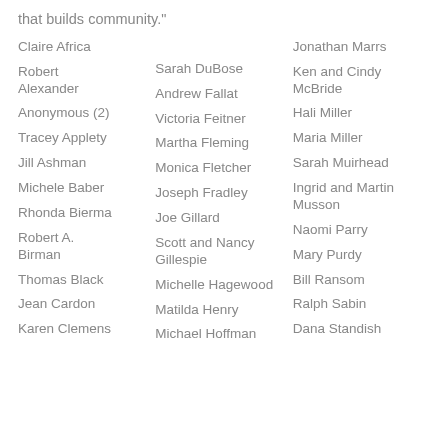that builds community."
Claire Africa
Robert Alexander
Anonymous (2)
Tracey Applety
Jill Ashman
Michele Baber
Rhonda Bierma
Robert A. Birman
Thomas Black
Jean Cardon
Karen Clemens
Sarah DuBose
Andrew Fallat
Victoria Feitner
Martha Fleming
Monica Fletcher
Joseph Fradley
Joe Gillard
Scott and Nancy Gillespie
Michelle Hagewood
Matilda Henry
Michael Hoffman
Jonathan Marrs
Ken and Cindy McBride
Hali Miller
Maria Miller
Sarah Muirhead
Ingrid and Martin Musson
Naomi Parry
Mary Purdy
Bill Ransom
Ralph Sabin
Dana Standish